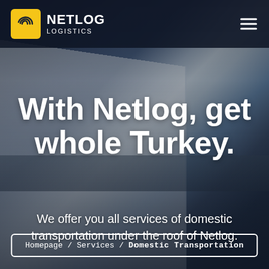[Figure (photo): Background photo of a Netlog Logistics truck driving on a road, with city skyline in background. Dark overlay applied over the image.]
NETLOG LOGISTICS
With Netlog, get whole Turkey.
We offer you all services of domestic transportation under the roof of Netlog.
Homepage / Services / Domestic Transportation